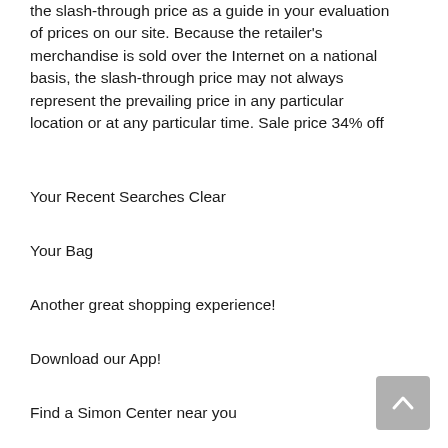the slash-through price as a guide in your evaluation of prices on our site. Because the retailer's merchandise is sold over the Internet on a national basis, the slash-through price may not always represent the prevailing price in any particular location or at any particular time. Sale price 34% off
Your Recent Searches Clear
Your Bag
Another great shopping experience!
Download our App!
Find a Simon Center near you